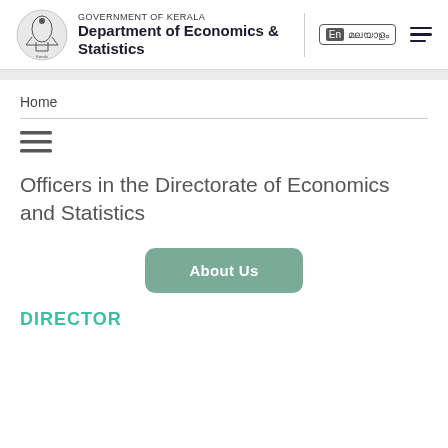GOVERNMENT OF KERALA Department of Economics & Statistics | Malayalam | Menu
Home
[Figure (other): Mobile menu hamburger icon with three horizontal lines]
Officers in the Directorate of Economics and Statistics
About Us
DIRECTOR